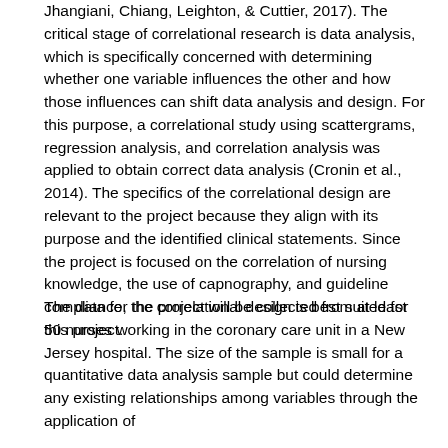Jhangiani, Chiang, Leighton, & Cuttier, 2017). The critical stage of correlational research is data analysis, which is specifically concerned with determining whether one variable influences the other and how those influences can shift data analysis and design. For this purpose, a correlational study using scattergrams, regression analysis, and correlation analysis was applied to obtain correct data analysis (Cronin et al., 2014). The specifics of the correlational design are relevant to the project because they align with its purpose and the identified clinical statements. Since the project is focused on the correlation of nursing knowledge, the use of capnography, and guideline compliance, the correlational design is best suited for this project.
The data for the project will be collected from at least 50 nurses working in the coronary care unit in a New Jersey hospital. The size of the sample is small for a quantitative data analysis sample but could determine any existing relationships among variables through the application of